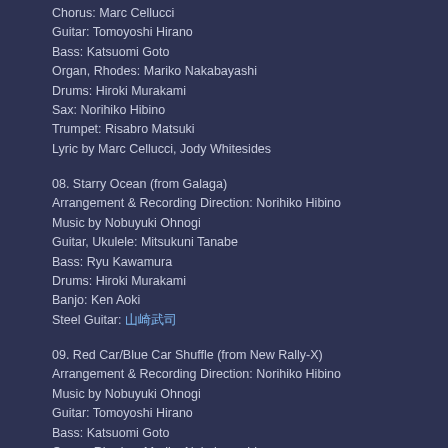Chorus: Marc Cellucci
Guitar: Tomoyoshi Hirano
Bass: Katsuomi Goto
Organ, Rhodes: Mariko Nakabayashi
Drums: Hiroki Murakami
Sax: Norihiko Hibino
Trumpet: Risabro Matsuki
Lyric by Marc Cellucci, Jody Whitesides
08. Starry Ocean (from Galaga)
Arrangement & Recording Direction: Norihiko Hibino
Music by Nobuyuki Ohnogi
Guitar, Ukulele: Mitsukuni Tanabe
Bass: Ryu Kawamura
Drums: Hiroki Murakami
Banjo: Ken Aoki
Steel Guitar: 山崎武司
09. Red Car/Blue Car Shuffle (from New Rally-X)
Arrangement & Recording Direction: Norihiko Hibino
Music by Nobuyuki Ohnogi
Guitar: Tomoyoshi Hirano
Bass: Katsuomi Goto
Organ, Rhodes: Mariko Nakabayashi
Drums: Hiroki Murakami
Sax: Norihiko Hibino
10. Aloha Is Worth 8 Points (from Kotoba no Puzzle Mojipittan)
Arrangement & Recording Direction: Norihiko Hibino
Music by Satoru Kosaki
Vocals: Aubrey Asburn
Vocals: Jody Whitesides
Bass: Kosaku Omori
Piano: Ayaki Saito
Drums: Hiroki Murakami
Percussion: Yoichi Okabe
Steel Pan: Yoshihiro Harada